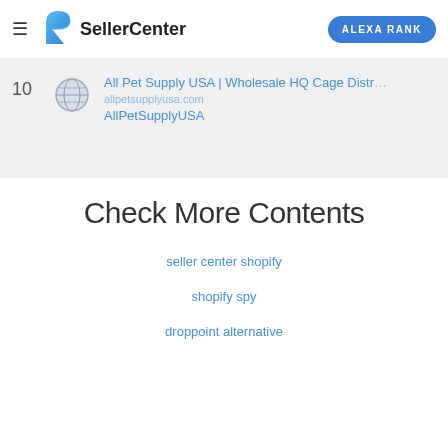SellerCenter | ALEXA RANK
| # | icon | Site |
| --- | --- | --- |
| 10 |  | All Pet Supply USA | Wholesale HQ Cage Distr... AllPetSupplyUSA |
Check More Contents
seller center shopify
shopify spy
droppoint alternative